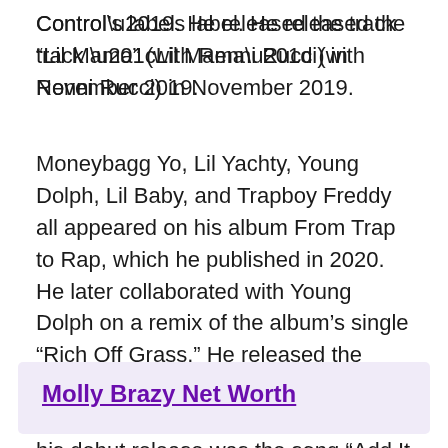Control’s label. He released the track “Lil Mama” (with Renni Rucci) in November 2019.
Moneybagg Yo, Lil Yachty, Young Dolph, Lil Baby, and Trapboy Freddy all appeared on his album From Trap to Rap, which he published in 2020. He later collaborated with Young Dolph on a remix of the album’s single “Rich Off Grass.” He released the single “Quarantine Flow” in May 2020. He signed with Motown Records, and his debut release was the song “Add It Up,” which was released on January 30, 2021, along with a music video.
Molly Brazy Net Worth